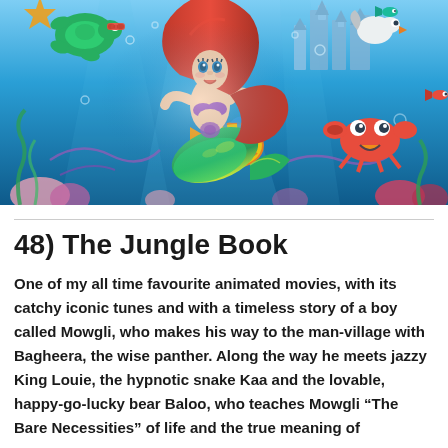[Figure (illustration): The Little Mermaid Disney illustration showing Ariel the mermaid with red hair and green tail, surrounded by underwater characters including Flounder (yellow fish), Sebastian (red crab), Scuttle (seagull), and other sea creatures with an underwater castle in the background.]
48) The Jungle Book
One of my all time favourite animated movies, with its catchy iconic tunes and with a timeless story of a boy called Mowgli, who makes his way to the man-village with Bagheera, the wise panther. Along the way he meets jazzy King Louie, the hypnotic snake Kaa and the lovable, happy-go-lucky bear Baloo, who teaches Mowgli “The Bare Necessities” of life and the true meaning of